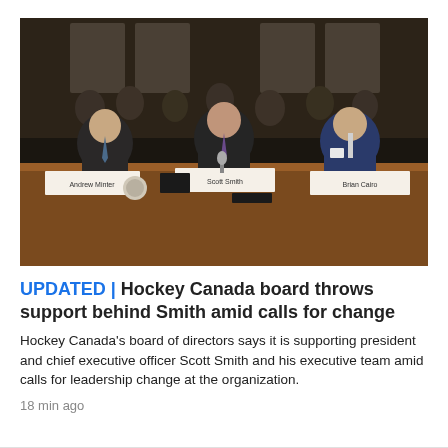[Figure (photo): Three men in suits seated at a long wooden table during what appears to be a parliamentary or congressional hearing. Name placards are visible in front of them on the table. An audience is visible in the background.]
UPDATED | Hockey Canada board throws support behind Smith amid calls for change
Hockey Canada's board of directors says it is supporting president and chief executive officer Scott Smith and his executive team amid calls for leadership change at the organization.
18 min ago